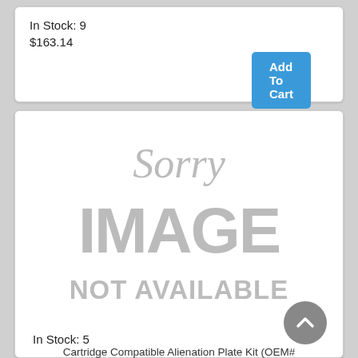In Stock: 9
$163.14
[Figure (screenshot): Blue 'Add To Cart' button]
[Figure (illustration): Sorry, Image Not Available placeholder image in grey tones]
Cartridge Compatible Alienation Plate Kit (OEM# Q3668-67925)
In Stock: 5